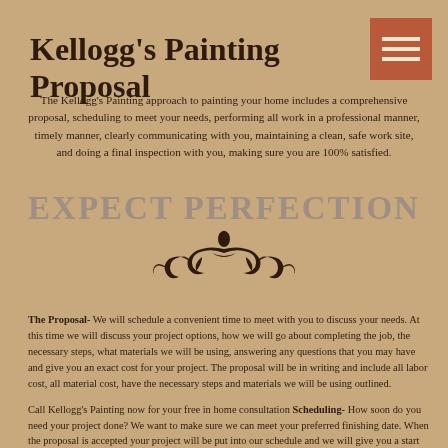Kellogg's Painting Proposal
[Figure (other): Hamburger menu icon with three horizontal bars on a terracotta/rust colored square background]
The Kellogg's Painting approach to painting your home includes a comprehensive proposal, scheduling to meet your needs, performing all work in a professional manner, timely manner, clearly communicating with you, maintaining a clean, safe work site, and doing a final inspection with you, making sure you are 100% satisfied.
[Figure (illustration): Large decorative text reading EXPECT PERFECTION in gray serif letters, followed by an ornamental flourish/scroll design in dark brown]
The Proposal- We will schedule a convenient time to meet with you to discuss your needs. At this time we will discuss your project options, how we will go about completing the job, the necessary steps, what materials we will be using, answering any questions that you may have and give you an exact cost for your project. The proposal will be in writing and include all labor cost, all material cost, have the necessary steps and materials we will be using outlined.
Call Kellogg's Painting now for your free in home consultation Scheduling- How soon do you need your project done? We want to make sure we can meet your preferred finishing date. When the proposal is accepted your project will be put into our schedule and we will give you a start date. Start and completion dates for your project will also be outlined in the written proposal.
Choosing Colors- We can also do exact computer color matching to an existing color,